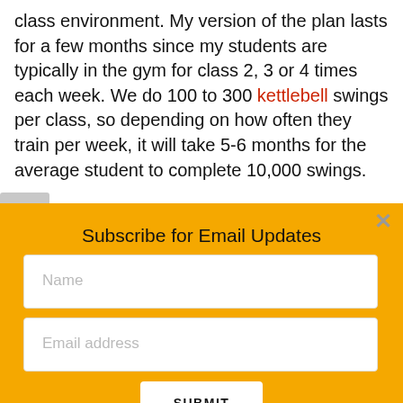class environment. My version of the plan lasts for a few months since my students are typically in the gym for class 2, 3 or 4 times each week. We do 100 to 300 kettlebell swings per class, so depending on how often they train per week, it will take 5-6 months for the average student to complete 10,000 swings.
Subscribe for Email Updates
Name
Email address
SUBMIT